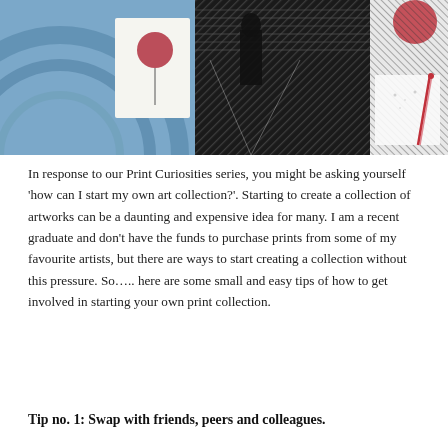[Figure (photo): A collage of printed artworks and cards spread on a surface, including a card with a red balloon, a black-and-white linocut cityscape print, blue fabric/paper, and a card with a red ribbon.]
In response to our Print Curiosities series, you might be asking yourself 'how can I start my own art collection?'. Starting to create a collection of artworks can be a daunting and expensive idea for many. I am a recent graduate and don't have the funds to purchase prints from some of my favourite artists, but there are ways to start creating a collection without this pressure. So….. here are some small and easy tips of how to get involved in starting your own print collection.
Tip no. 1: Swap with friends, peers and colleagues.